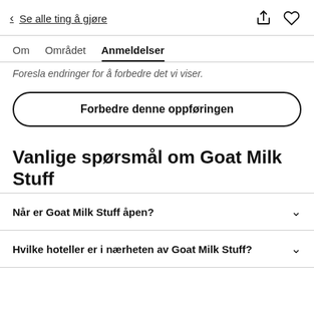< Se alle ting å gjøre
Om  Området  Anmeldelser
Foresla endringer for å forbedre det vi viser.
Forbedre denne oppføringen
Vanlige spørsmål om Goat Milk Stuff
Når er Goat Milk Stuff åpen?
Hvilke hoteller er i nærheten av Goat Milk Stuff?